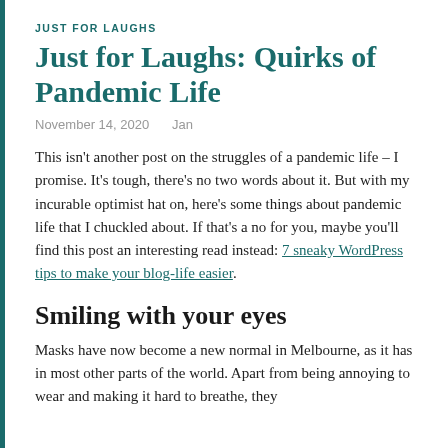JUST FOR LAUGHS
Just for Laughs: Quirks of Pandemic Life
November 14, 2020   Jan
This isn't another post on the struggles of a pandemic life – I promise. It's tough, there's no two words about it. But with my incurable optimist hat on, here's some things about pandemic life that I chuckled about. If that's a no for you, maybe you'll find this post an interesting read instead: 7 sneaky WordPress tips to make your blog-life easier.
Smiling with your eyes
Masks have now become a new normal in Melbourne, as it has in most other parts of the world. Apart from being annoying to wear and making it hard to breathe, they